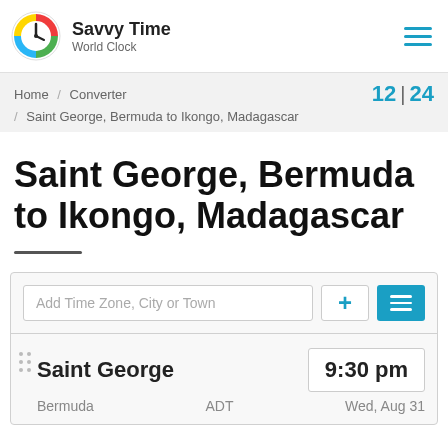Savvy Time World Clock
Home / Converter / Saint George, Bermuda to Ikongo, Madagascar   12 | 24
Saint George, Bermuda to Ikongo, Madagascar
Add Time Zone, City or Town
Saint George   9:30 pm   Bermuda   ADT   Wed, Aug 31